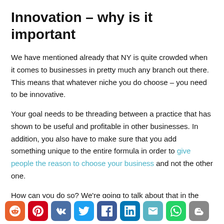Innovation – why is it important
We have mentioned already that NY is quite crowded when it comes to businesses in pretty much any branch out there. This means that whatever niche you do choose – you need to be innovative.
Your goal needs to be threading between a practice that has shown to be useful and profitable in other businesses. In addition, you also have to make sure that you add something unique to the entire formula in order to give people the reason to choose your business and not the other one.
How can you do so? We're going to talk about that in the following text.
[Figure (other): Social share buttons: Reddit, Pinterest, VK, Twitter, Facebook, LinkedIn, Email, WhatsApp, Blogger]